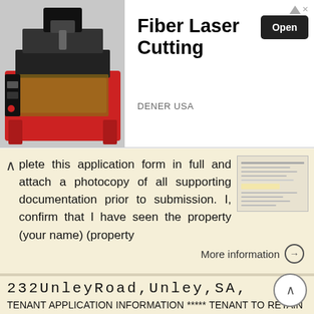[Figure (advertisement): Ad banner for Fiber Laser Cutting by DENER USA with CNC laser machine image, Open button, and sponsored arrow icon]
plete this application form in full and attach a photocopy of all supporting documentation prior to submission. I, confirm that I have seen the property (your name) (property
More information →
232UnleyRoad,Unley,SA,
TENANT APPLICATION INFORMATION ***** TENANT TO RETAIN THIS INFORMATION ***** APPLICATIONS WILL NOT BE PROCESSED UNLESS ALL INFORMATION IS SUPPLIED OFFICE HOURS - Our office is open Monday to Saturday 9